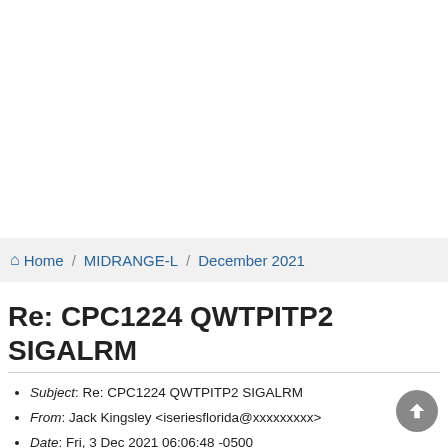Home / MIDRANGE-L / December 2021
Re: CPC1224 QWTPITP2 SIGALRM
Subject: Re: CPC1224 QWTPITP2 SIGALRM
From: Jack Kingsley <iseriesflorida@xxxxxxxxx>
Date: Fri, 3 Dec 2021 06:06:48 -0500